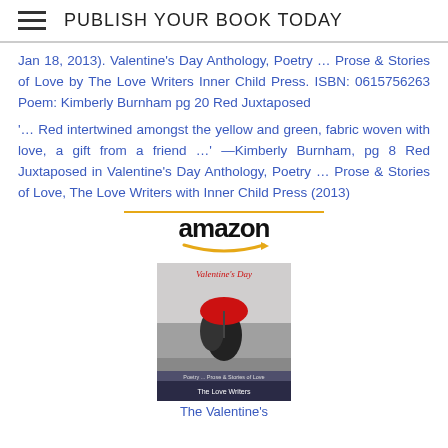PUBLISH YOUR BOOK TODAY
Jan 18, 2013). Valentine's Day Anthology, Poetry ... Prose & Stories of Love by The Love Writers Inner Child Press. ISBN: 0615756263 Poem: Kimberly Burnham pg 20 Red Juxtaposed
'... Red intertwined amongst the yellow and green, fabric woven with love, a gift from a friend ...' —Kimberly Burnham, pg 8 Red Juxtaposed in Valentine's Day Anthology, Poetry ... Prose & Stories of Love, The Love Writers with Inner Child Press (2013)
[Figure (other): Amazon logo with orange arrow underneath and book cover image for Valentine's Day Anthology by The Love Writers]
The Valentine's